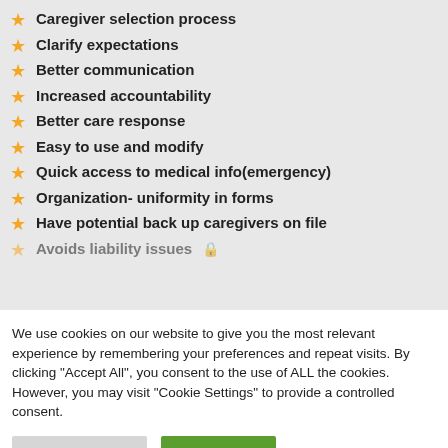Caregiver selection process
Clarify expectations
Better communication
Increased accountability
Better care response
Easy to use and modify
Quick access to medical info(emergency)
Organization- uniformity in forms
Have potential back up caregivers on file
Avoids liability issues 🔒
We use cookies on our website to give you the most relevant experience by remembering your preferences and repeat visits. By clicking "Accept All", you consent to the use of ALL the cookies. However, you may visit "Cookie Settings" to provide a controlled consent.